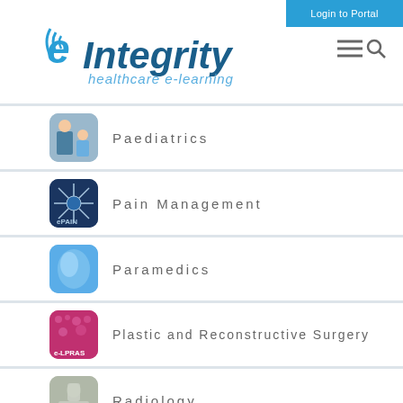eIntegrity healthcare e-learning
Login to Portal
Paediatrics
Pain Management
Paramedics
Plastic and Reconstructive Surgery
Radiology
Radiotherapy
Renal Medicine